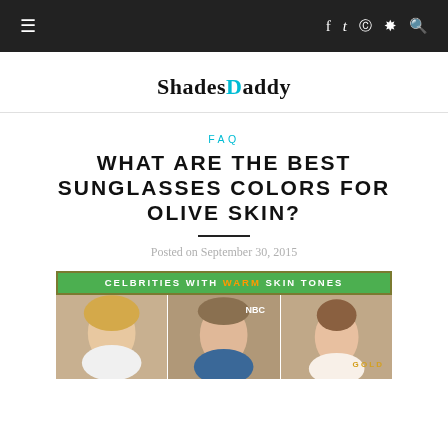ShadesDaddy navigation bar with hamburger menu and social icons
ShadesDaddy
FAQ
WHAT ARE THE BEST SUNGLASSES COLORS FOR OLIVE SKIN?
Posted on September 30, 2015
[Figure (photo): Banner image showing celebrities with warm skin tones including three celebrity photos (Beyoncé, Brad Pitt, Jessica Alba) with a green header bar reading 'CELEBRITIES WITH WARM SKIN TONES']